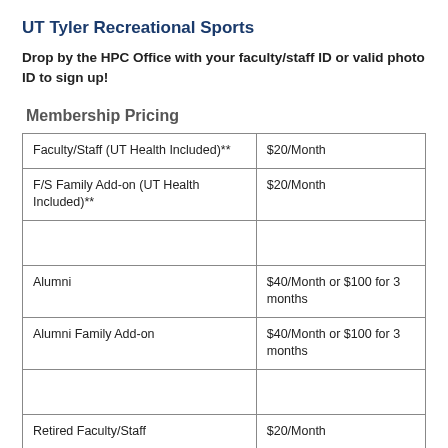UT Tyler Recreational Sports
Drop by the HPC Office with your faculty/staff ID or valid photo ID to sign up!
Membership Pricing
| Faculty/Staff (UT Health Included)** | $20/Month |
| F/S Family Add-on (UT Health Included)** | $20/Month |
|  |  |
| Alumni | $40/Month or $100 for 3 months |
| Alumni Family Add-on | $40/Month or $100 for 3 months |
|  |  |
| Retired Faculty/Staff | $20/Month |